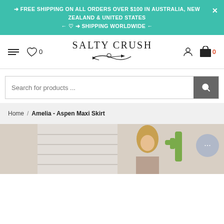➜ FREE SHIPPING ON ALL ORDERS OVER $100 IN AUSTRALIA, NEW ZEALAND & UNITED STATES ← ♡ ➜ SHIPPING WORLDWIDE ←
[Figure (logo): Salty Crush logo with heart and arrow decoration]
Search for products ...
Home / Amelia - Aspen Maxi Skirt
[Figure (photo): Product photo of woman wearing Amelia Aspen Maxi Skirt outdoors with cactus in background]